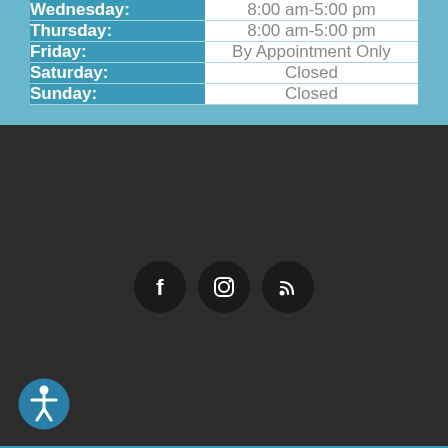| Day | Hours |
| --- | --- |
| Wednesday: | 8:00 am-5:00 pm |
| Thursday: | 8:00 am-5:00 pm |
| Friday: | By Appointment Only |
| Saturday: | Closed |
| Sunday: | Closed |
[Figure (infographic): Footer with accessibility icon (person-in-circle) on left and three social media icons (Facebook, Instagram, RSS feed) centered on dark background, with a teal horizontal line at the bottom]